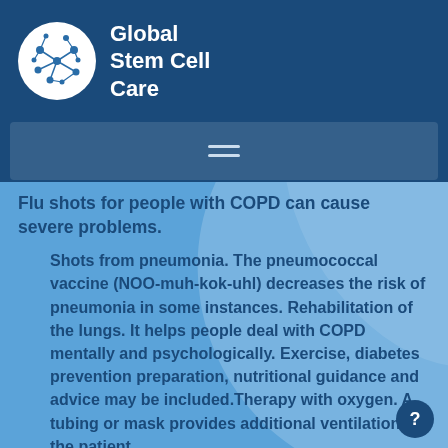[Figure (logo): Global Stem Cell Care logo: white circle with molecular/stem cell network pattern, with 'Global Stem Cell Care' text in white to its right]
Flu shots for people with COPD can cause severe problems.
Shots from pneumonia. The pneumococcal vaccine (NOO-muh-kok-uhl) decreases the risk of pneumonia in some instances. Rehabilitation of the lungs. It helps people deal with COPD mentally and psychologically. Exercise, diabetes prevention preparation, nutritional guidance and advice may be included.Therapy with oxygen. A tubing or mask provides additional ventilation for the patient.
Surgery. Operation may also be of use for